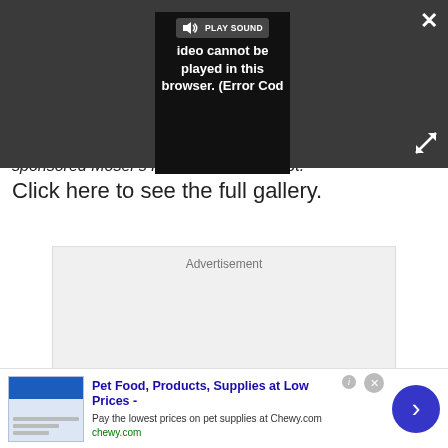[Figure (screenshot): Video player overlay with dark gray background. A video error dialog box is shown in the center with a 'PLAY SOUND' button and text reading 'Video cannot be played in this browser. (Error Cod'. A white X close button is in the top right and expand arrows are in the bottom right.]
sponsored Moser's Hour Record attempt.
Click here to see the full gallery.
[Figure (other): Advertisement placeholder box with gray background labeled 'Advertisement']
[Figure (other): Bottom ad banner for Chewy.com: 'Pet Food, Products, Supplies at Low Prices - Pay the lowest prices on pet supplies at Chewy.com' with chewy.com URL in green, a product image, and a blue circular next arrow button.]